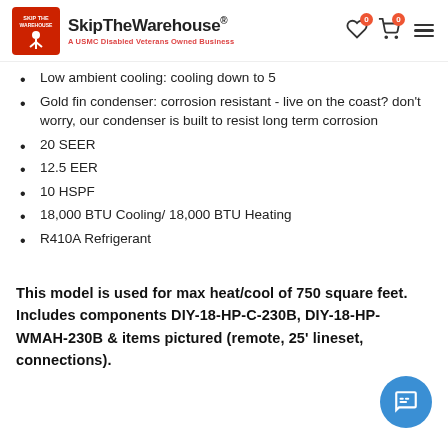SkipTheWarehouse® — A USMC Disabled Veterans Owned Business
Low ambient cooling: cooling down to 5
Gold fin condenser: corrosion resistant - live on the coast? don't worry, our condenser is built to resist long term corrosion
20 SEER
12.5 EER
10 HSPF
18,000 BTU Cooling/ 18,000 BTU Heating
R410A Refrigerant
This model is used for max heat/cool of 750 square feet. Includes components DIY-18-HP-C-230B, DIY-18-HP-WMAH-230B & items pictured (remote, 25' lineset, connections).